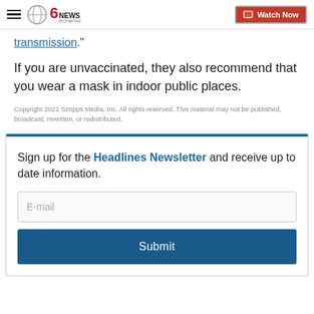CBS 6 News Richmond — Watch Now
transmission."
If you are unvaccinated, they also recommend that you wear a mask in indoor public places.
Copyright 2021 Scripps Media, Inc. All rights reserved. This material may not be published, broadcast, rewritten, or redistributed.
Sign up for the Headlines Newsletter and receive up to date information.
E-mail
Submit